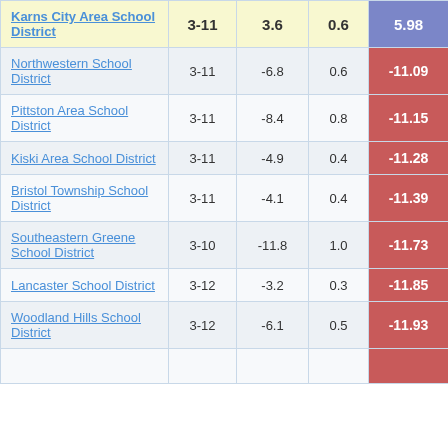| District | Grades | Col3 | Col4 | Score |
| --- | --- | --- | --- | --- |
| Karns City Area School District | 3-11 | 3.6 | 0.6 | 5.98 |
| Northwestern School District | 3-11 | -6.8 | 0.6 | -11.09 |
| Pittston Area School District | 3-11 | -8.4 | 0.8 | -11.15 |
| Kiski Area School District | 3-11 | -4.9 | 0.4 | -11.28 |
| Bristol Township School District | 3-11 | -4.1 | 0.4 | -11.39 |
| Southeastern Greene School District | 3-10 | -11.8 | 1.0 | -11.73 |
| Lancaster School District | 3-12 | -3.2 | 0.3 | -11.85 |
| Woodland Hills School District | 3-12 | -6.1 | 0.5 | -11.93 |